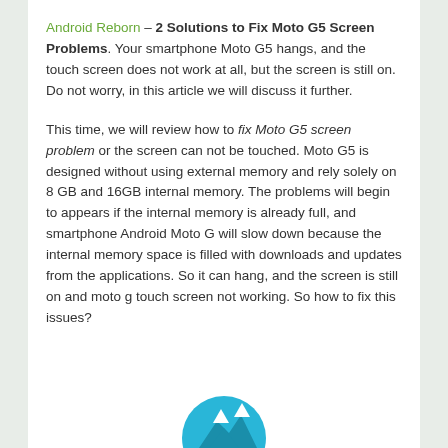Android Reborn – 2 Solutions to Fix Moto G5 Screen Problems. Your smartphone Moto G5 hangs, and the touch screen does not work at all, but the screen is still on. Do not worry, in this article we will discuss it further.
This time, we will review how to fix Moto G5 screen problem or the screen can not be touched. Moto G5 is designed without using external memory and rely solely on 8 GB and 16GB internal memory. The problems will begin to appears if the internal memory is already full, and smartphone Android Moto G will slow down because the internal memory space is filled with downloads and updates from the applications. So it can hang, and the screen is still on and moto g touch screen not working. So how to fix this issues?
[Figure (illustration): Partial view of a circular icon/logo with blue color at the bottom of the page]